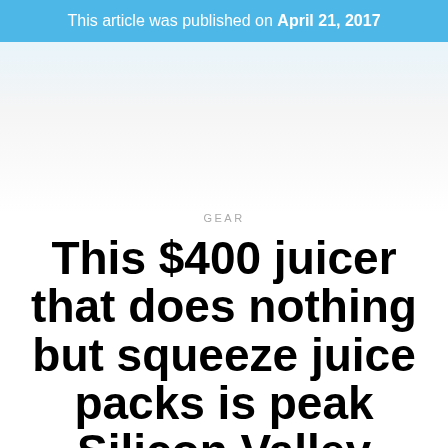This article was published on April 21, 2017
GEAR
This $400 juicer that does nothing but squeeze juice packs is peak Silicon Valley